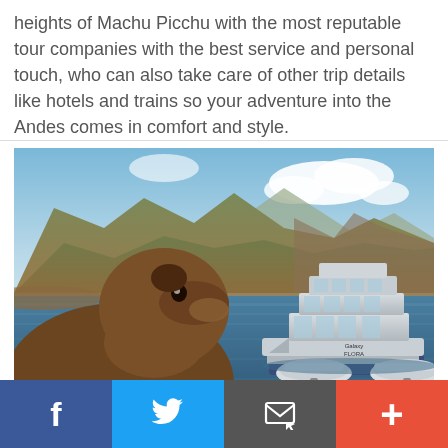heights of Machu Picchu with the most reputable tour companies with the best service and personal touch, who can also take care of other trip details like hotels and trains so your adventure into the Andes comes in comfort and style.
[Figure (photo): A sea lion in the foreground with mountains and blue water behind it, and a modern multi-deck vessel labeled 'Galaxy Flora' docked at a pier, with two inflatable boats on either side.]